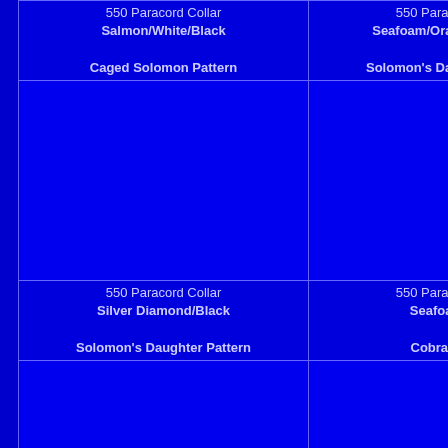550 Paracord Collar
Salmon/White/Black
Caged Solomon Pattern
550 Paracord Collar
Seafoam/Orange Diamond
Solomon's Daughter Pattern
550 Paracord Collar
Navy/Y...
Caged Solomon Pattern
[Figure (photo): Blue square product image placeholder]
[Figure (photo): Blue square product image placeholder]
[Figure (photo): Blue square product image placeholder]
550 Paracord Collar
Silver Diamond/Black
Solomon's Daughter Pattern
550 Paracord Collar
Seafoam/Gold
Cobra Pattern
550 Paracord Collar
Navy/...
King Cobra Pattern
[Figure (photo): Blue square product image placeholder]
[Figure (photo): Blue square product image placeholder]
[Figure (photo): Blue square product image placeholder]
550 Paracord Collar
Blue/Red/Purple
Solomon V-Bar Pattern
550 Paracord Collar
Black/Pink Diamond
Solomon's Daughter Pattern
550 Paracord Collar
Green/Ye...
Cobra Pattern
[Figure (photo): Blue square product image placeholder]
[Figure (photo): Blue square product image placeholder]
[Figure (photo): Blue square product image placeholder]